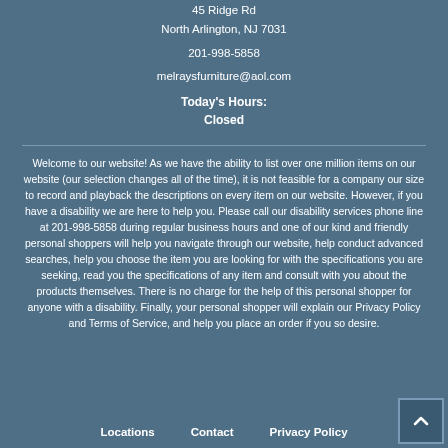45 Ridge Rd
North Arlington, NJ 7031
201-998-5858
melraysfurniture@aol.com
Today's Hours:
Closed
Welcome to our website! As we have the ability to list over one million items on our website (our selection changes all of the time), it is not feasible for a company our size to record and playback the descriptions on every item on our website. However, if you have a disability we are here to help you. Please call our disability services phone line at 201-998-5858 during regular business hours and one of our kind and friendly personal shoppers will help you navigate through our website, help conduct advanced searches, help you choose the item you are looking for with the specifications you are seeking, read you the specifications of any item and consult with you about the products themselves. There is no charge for the help of this personal shopper for anyone with a disability. Finally, your personal shopper will explain our Privacy Policy and Terms of Service, and help you place an order if you so desire.
Locations   Contact   Privacy Policy